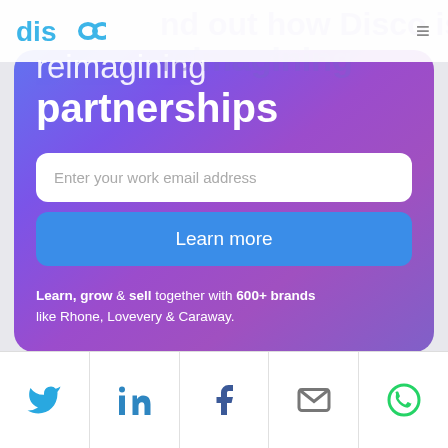disco
Find out how Disco is reimagining partnerships
Enter your work email address
Learn more
Learn, grow & sell together with 600+ brands like Rhone, Lovevery & Caraway.
[Figure (logo): Social share bar with Twitter, LinkedIn, Facebook, email, and WhatsApp icons]